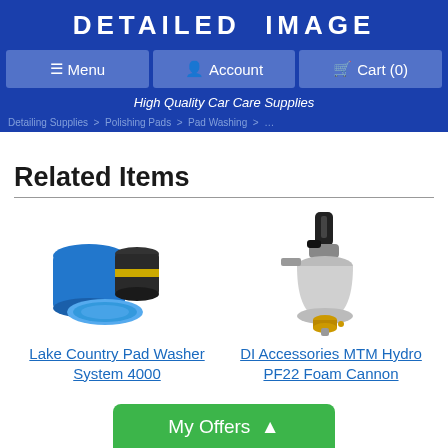DETAILED IMAGE
Menu | Account | Cart (0)
High Quality Car Care Supplies
Related Items
[Figure (photo): Lake Country Pad Washer System 4000 - blue and black cylindrical pad washer containers with blue pad]
Lake Country Pad Washer System 4000
[Figure (photo): DI Accessories MTM Hydro PF22 Foam Cannon - silver/grey foam cannon attachment with black handle and brass fittings]
DI Accessories MTM Hydro PF22 Foam Cannon
My Offers